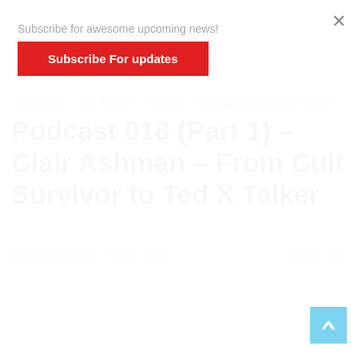Subscribe for awesome upcoming news!
Subscribe For updates
Contributors | Clair Ashman | Podcasts | The Good Girl Confessional Podcast
Podcast 018 (Part 1) – Clair Ashman – From Cult Survivor to Ted X Talker
By Sandy Lowres - April 4, 2020  363  0